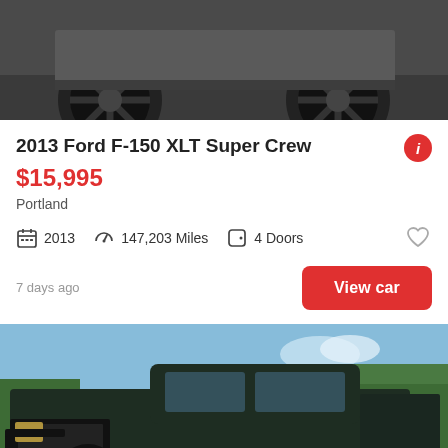[Figure (photo): Partial view of a dark truck with black alloy wheels, cropped at top of page]
2013 Ford F-150 XLT Super Crew
$15,995
Portland
2013   147,203 Miles   4 Doors
7 days ago
View car
[Figure (photo): Black Dodge dually pickup truck parked on gravel with trees in background, See photo badge in lower right]